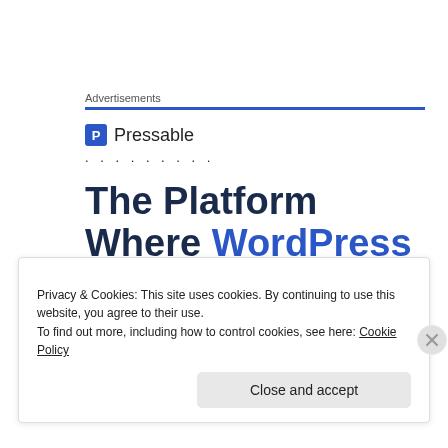Advertisements
[Figure (logo): Pressable logo with blue square P icon and text 'Pressable', followed by a dotted line]
The Platform Where WordPress
Morley, Nero, Nesta, Nicolai, Nino, Nilan, Nivesh,
Privacy & Cookies: This site uses cookies. By continuing to use this website, you agree to their use.
To find out more, including how to control cookies, see here: Cookie Policy
Close and accept